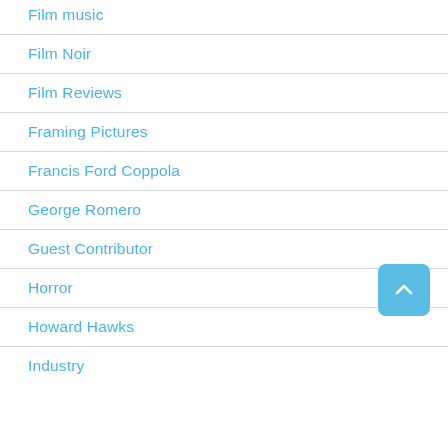Film music
Film Noir
Film Reviews
Framing Pictures
Francis Ford Coppola
George Romero
Guest Contributor
Horror
Howard Hawks
Industry